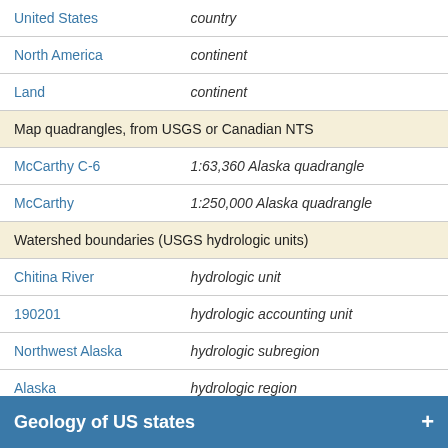| United States | country |
| North America | continent |
| Land | continent |
| Map quadrangles, from USGS or Canadian NTS |  |
| McCarthy C-6 | 1:63,360 Alaska quadrangle |
| McCarthy | 1:250,000 Alaska quadrangle |
| Watershed boundaries (USGS hydrologic units) |  |
| Chitina River | hydrologic unit |
| 190201 | hydrologic accounting unit |
| Northwest Alaska | hydrologic subregion |
| Alaska | hydrologic region |
| Areas administered by US Federal agencies |  |
Geology of US states